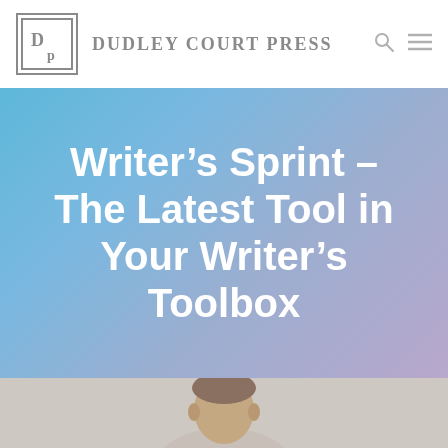Dudley Court Press
Writer’s Sprint – The Latest Tool in Your Writer’s Toolbox
[Figure (photo): Partial photo of a person (top of head visible) at the bottom of the page, against a light background]